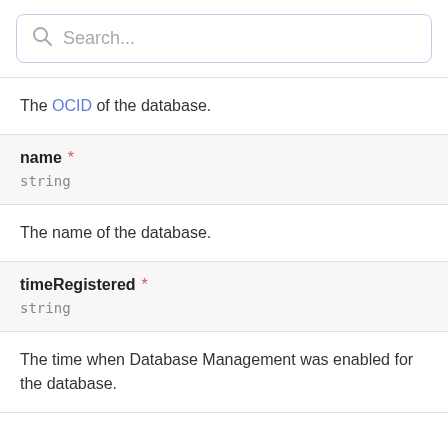[Figure (screenshot): Search bar with magnifying glass icon and placeholder text 'Search...']
The OCID of the database.
name *
string
The name of the database.
timeRegistered *
string
The time when Database Management was enabled for the database.